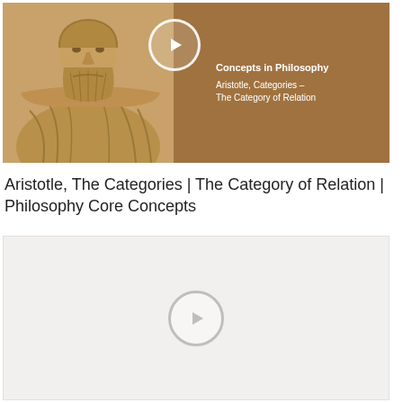[Figure (screenshot): Video thumbnail showing a sepia-toned bust of Aristotle on the left and a brown background on the right with a play button icon and text reading 'Concepts in Philosophy' and 'Aristotle, Categories - The Category of Relation']
Aristotle, The Categories | The Category of Relation | Philosophy Core Concepts
[Figure (screenshot): A second video thumbnail placeholder showing a light gray/beige background with a faded circular play button icon in the center]